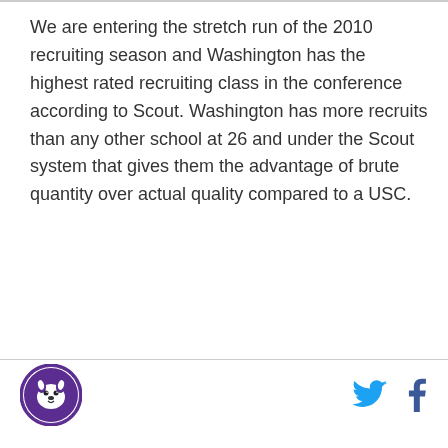We are entering the stretch run of the 2010 recruiting season and Washington has the highest rated recruiting class in the conference according to Scout. Washington has more recruits than any other school at 26 and under the Scout system that gives them the advantage of brute quantity over actual quality compared to a USC.
[Figure (logo): University of Washington Huskies circular logo with dog mascot, purple border]
[Figure (logo): Twitter bird icon in cyan/light blue]
[Figure (logo): Facebook 'f' icon in dark blue]